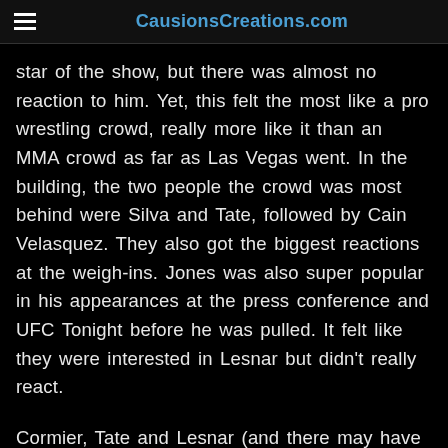CausionsCreations.com
star of the show, but there was almost no reaction to him. Yet, this felt the most like a pro wrestling crowd, really more like it than an MMA crowd as far as Las Vegas went. In the building, the two people the crowd was most behind were Silva and Tate, followed by Cain Velasquez. They also got the biggest reactions at the weigh-ins. Jones was also super popular in his appearances at the press conference and UFC Tonight before he was pulled. It felt like they were interested in Lesnar but didn’t really react.
Cormier, Tate and Lesnar (and there may have been others like Silva and Aldo, but we know of those three) all had PPV points on the show. While every contract is